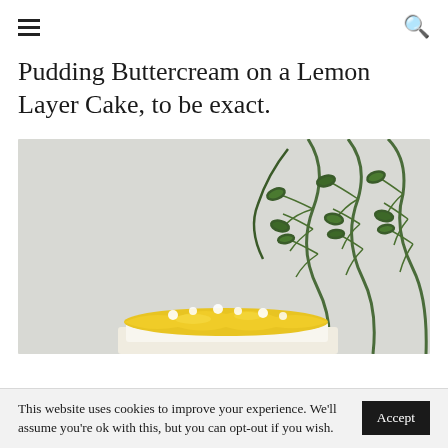[hamburger menu icon] [search icon]
Pudding Buttercream on a Lemon Layer Cake, to be exact.
[Figure (photo): Photo of a lemon layer cake with yellow frosting/pudding buttercream on top, with green leafy plant branches in the background against a light grey wall.]
This website uses cookies to improve your experience. We'll assume you're ok with this, but you can opt-out if you wish. Accept